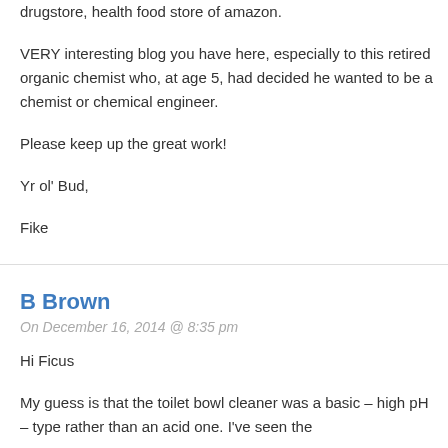drugstore, health food store of amazon.
VERY interesting blog you have here, especially to this retired organic chemist who, at age 5, had decided he wanted to be a chemist or chemical engineer.
Please keep up the great work!
Yr ol' Bud,
Fike
B Brown
On December 16, 2014 @ 8:35 pm
Hi Ficus
My guess is that the toilet bowl cleaner was a basic – high pH – type rather than an acid one. I've seen the